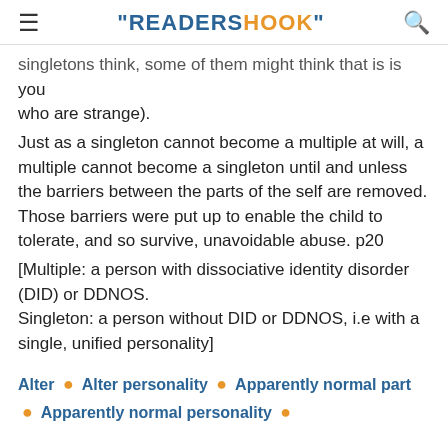"READERSHOOK"
singletons think, some of them might think that is is
you
who are strange).
Just as a singleton cannot become a multiple at will, a multiple cannot become a singleton until and unless the barriers between the parts of the self are removed. Those barriers were put up to enable the child to tolerate, and so survive, unavoidable abuse. p20
[Multiple: a person with dissociative identity disorder (DID) or DDNOS.
Singleton: a person without DID or DDNOS, i.e with a single, unified personality]
Alter • Alter personality • Apparently normal part • Apparently normal personality •